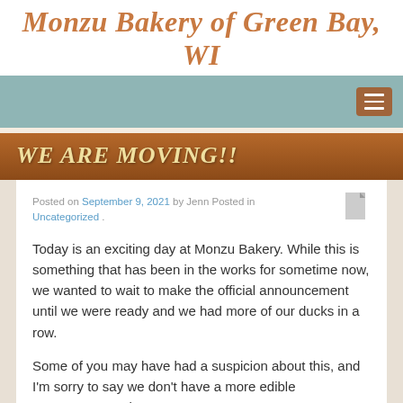Monzu Bakery of Green Bay, WI
[Figure (screenshot): Navigation bar with teal/green background and a brown hamburger menu button on the right]
WE ARE MOVING!!
Posted on September 9, 2021 by Jenn Posted in Uncategorized .
Today is an exciting day at Monzu Bakery. While this is something that has been in the works for sometime now, we wanted to wait to make the official announcement until we were ready and we had more of our ducks in a row.
Some of you may have had a suspicion about this, and I'm sorry to say we don't have a more edible announcement, but we are MOVING! YES! We